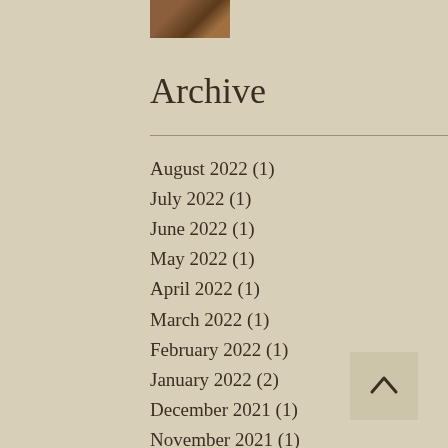[Figure (photo): Small profile/avatar photo at top of sidebar]
Archive
August 2022 (1)
July 2022 (1)
June 2022 (1)
May 2022 (1)
April 2022 (1)
March 2022 (1)
February 2022 (1)
January 2022 (2)
December 2021 (1)
November 2021 (1)
October 2021 (1)
September 2021 (1)
August 2021 (1)